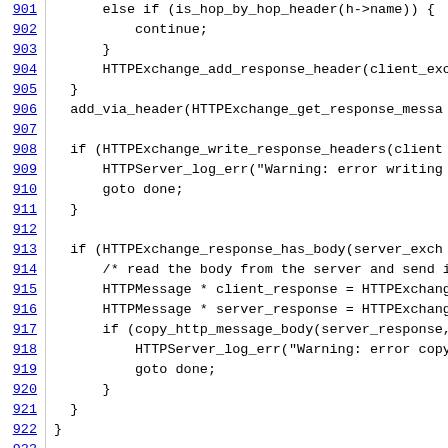[Figure (screenshot): Source code listing lines 901-923 showing C code for HTTP proxy logic, with blue underlined line numbers on the left and monospace code on the right.]